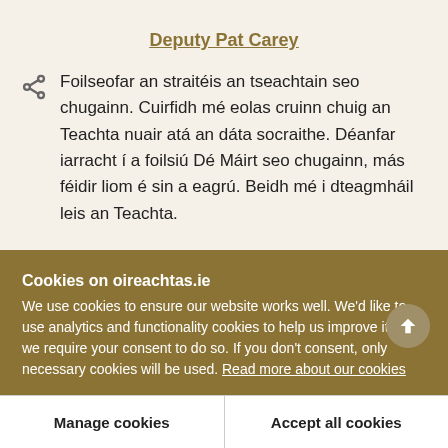Deputy Pat Carey
Foilseofar an straitéis an tseachtain seo chugainn. Cuirfidh mé eolas cruinn chuig an Teachta nuair atá an dáta socraithe. Déanfar iarracht í a foilsiú Dé Máirt seo chugainn, más féidir liom é sin a eagrú. Beidh mé i dteagmháil leis an Teachta.
Cookies on oireachtas.ie
We use cookies to ensure our website works well. We'd like to use analytics and functionality cookies to help us improve it but we require your consent to do so. If you don't consent, only necessary cookies will be used. Read more about our cookies
Manage cookies
Accept all cookies